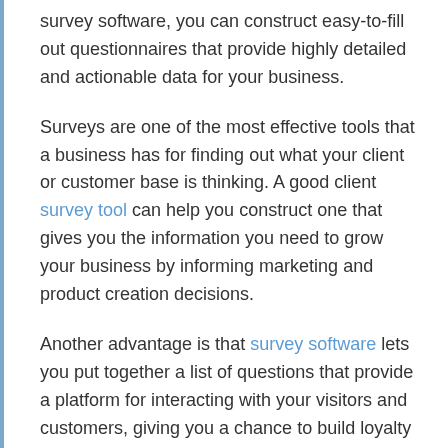survey software, you can construct easy-to-fill out questionnaires that provide highly detailed and actionable data for your business.
Surveys are one of the most effective tools that a business has for finding out what your client or customer base is thinking. A good client survey tool can help you construct one that gives you the information you need to grow your business by informing marketing and product creation decisions.
Another advantage is that survey software lets you put together a list of questions that provide a platform for interacting with your visitors and customers, giving you a chance to build loyalty and trust. Consumers buy from companies that listen to their concerns.
Here are seven tips for making the most of your next...